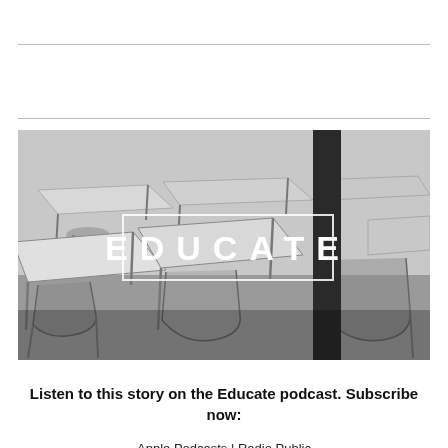[Figure (photo): Black and white photograph of an empty classroom with rows of student desks and chairs. In the center of the image is a white-bordered rectangle containing the word EDUCATE in large bold white capital letters with wide letter spacing.]
Listen to this story on the Educate podcast. Subscribe now:
Apple Podcasts | Radio Public